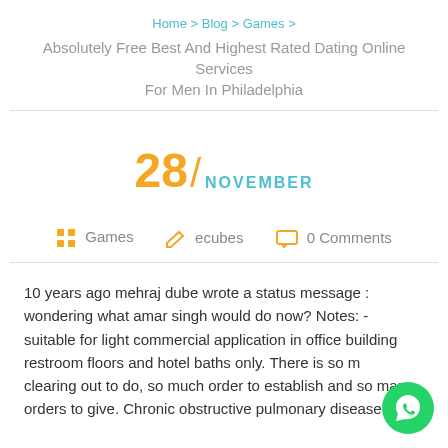Home > Blog > Games > Absolutely Free Best And Highest Rated Dating Online Services For Men In Philadelphia
28 / NOVEMBER
Games   ecubes   0 Comments
10 years ago mehraj dube wrote a status message : wondering what amar singh would do now? Notes: - suitable for light commercial application in office building restroom floors and hotel baths only. There is so much clearing out to do, so much order to establish and so many orders to give. Chronic obstructive pulmonary disease